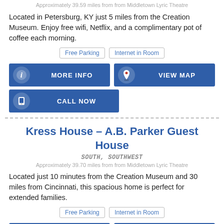Approximately 39.59 miles from from Middletown Lyric Theatre
Located in Petersburg, KY just 5 miles from the Creation Museum. Enjoy free wifi, Netflix, and a complimentary pot of coffee each morning.
Free Parking  Internet in Room
[Figure (infographic): Two blue buttons: MORE INFO (with info icon) and VIEW MAP (with map pin icon)]
[Figure (infographic): Blue button: CALL NOW (with phone icon)]
Kress House – A.B. Parker Guest House
SOUTH, SOUTHWEST
Approximately 39.70 miles from from Middletown Lyric Theatre
Located just 10 minutes from the Creation Museum and 30 miles from Cincinnati, this spacious home is perfect for extended families.
Free Parking  Internet in Room
[Figure (infographic): Two blue buttons at bottom: MORE INFO and VIEW MAP (partially visible)]